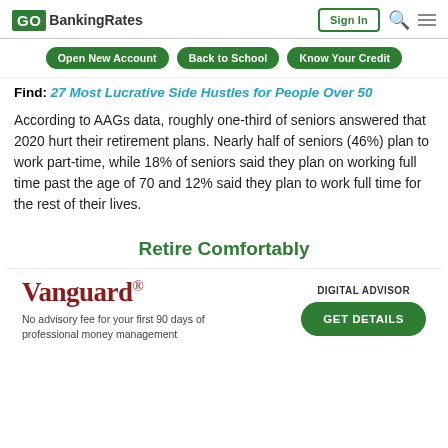GOBankingRates — Sign In
Open New Account | Back to School | Know Your Credit
Find: 27 Most Lucrative Side Hustles for People Over 50
According to AAGs data, roughly one-third of seniors answered that 2020 hurt their retirement plans. Nearly half of seniors (46%) plan to work part-time, while 18% of seniors said they plan on working full time past the age of 70 and 12% said they plan to work full time for the rest of their lives.
Retire Comfortably
[Figure (other): Vanguard Digital Advisor advertisement. Vanguard logo with tagline: No advisory fee for your first 90 days of professional money management. Button: GET DETAILS. Label: DIGITAL ADVISOR.]